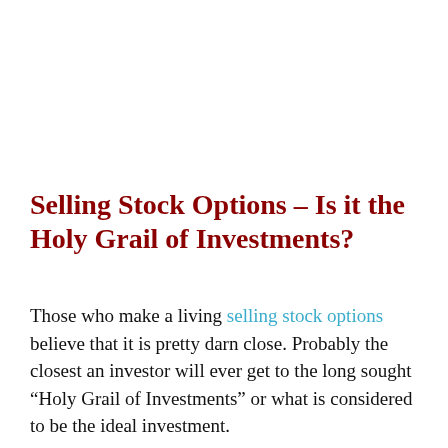Selling Stock Options – Is it the Holy Grail of Investments?
Those who make a living selling stock options believe that it is pretty darn close. Probably the closest an investor will ever get to the long sought “Holy Grail of Investments” or what is considered to be the ideal investment.